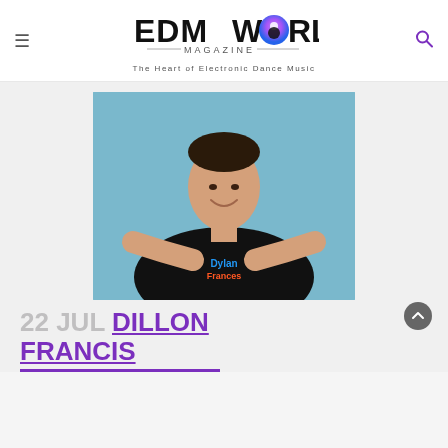EDM WORLD MAGAZINE — The Heart of Electronic Dance Music
[Figure (photo): Man in black Dylan Frances t-shirt with arms outstretched, tattoos visible, smiling against blue background]
22 JUL DILLON FRANCIS